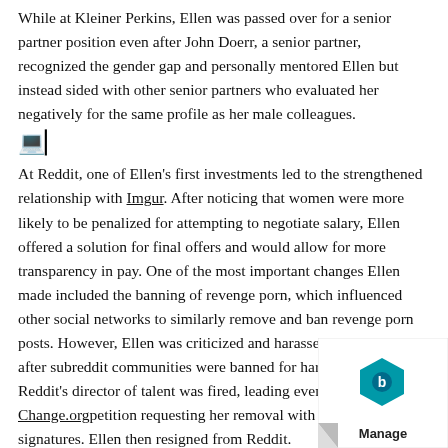While at Kleiner Perkins, Ellen was passed over for a senior partner position even after John Doerr, a senior partner, recognized the gender gap and personally mentored Ellen but instead sided with other senior partners who evaluated her negatively for the same profile as her male colleagues.
[Figure (other): Laptop emoji followed by cursor/text icon]
At Reddit, one of Ellen's first investments led to the strengthened relationship with Imgur. After noticing that women were more likely to be penalized for attempting to negotiate salary, Ellen offered a solution for final offers and would allow for more transparency in pay. One of the most important changes Ellen made included the banning of revenge porn, which influenced other social networks to similarly remove and ban revenge porn posts. However, Ellen was criticized and harassed by Reddit users after subreddit communities were banned for harassment and Reddit's director of talent was fired, leading even to a Change.org petition requesting her removal with 200,000 signatures. Ellen then resigned from Reddit.
[Figure (other): Laptop emoji followed by cursor/text icon]
After leaving Reddit, Ellen founding Project Include with women in the tech industry. Ellen's book Reset: My Fight for Inclusion and Lasting Change, was shortlisted for the T
[Figure (logo): Manage logo watermark in bottom right corner — white curled paper corner with teal/blue hexagonal icon and 'Manage' text]